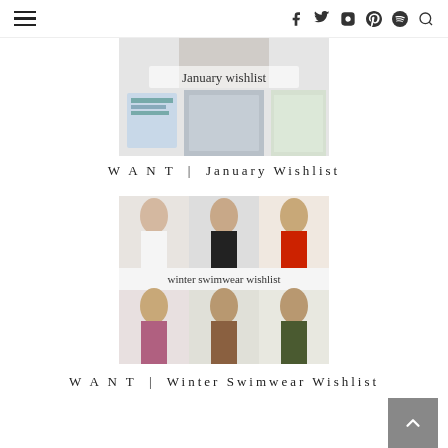Navigation header with hamburger menu and social icons (Facebook, Twitter, Instagram, Pinterest, Spotify, Search)
[Figure (photo): January Wishlist blog post thumbnail showing a collage of wishlist items with handwritten text overlay 'January wishlist']
W A N T | January Wishlist
[Figure (photo): Winter Swimwear Wishlist blog post thumbnail showing a grid of 6 women modeling swimwear with handwritten text overlay 'winter swimwear wishlist']
W A N T | Winter Swimwear Wishlist